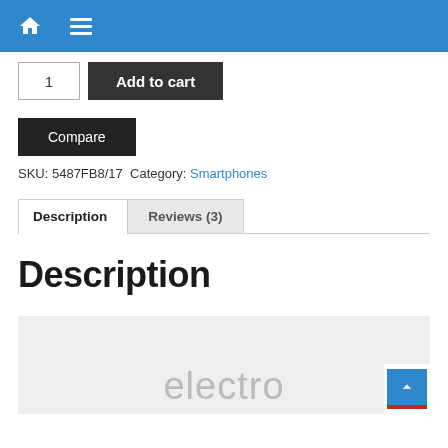Navigation bar with home icon and menu icon
[Figure (screenshot): Add to cart row with quantity box showing '1' and dark Add to cart button]
[Figure (screenshot): Dark Compare button]
SKU: 5487FB8/17  Category: Smartphones
Description | Reviews (3) tabs
Description
[Figure (screenshot): Gray box with 'electro' text and back-to-top button in lower right]